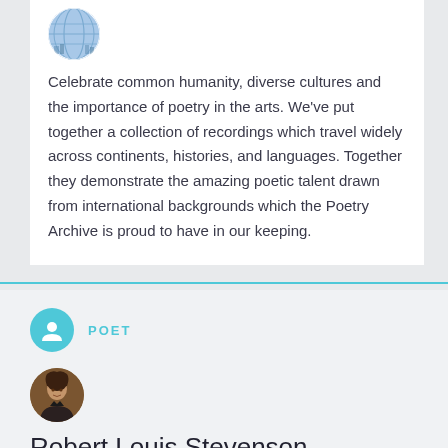[Figure (photo): Circular avatar showing a globe with books in background]
Celebrate common humanity, diverse cultures and the importance of poetry in the arts. We've put together a collection of recordings which travel widely across continents, histories, and languages. Together they demonstrate the amazing poetic talent drawn from international backgrounds which the Poetry Archive is proud to have in our keeping.
POET
[Figure (photo): Circular portrait photo of Robert Louis Stevenson]
Robert Louis Stevenson